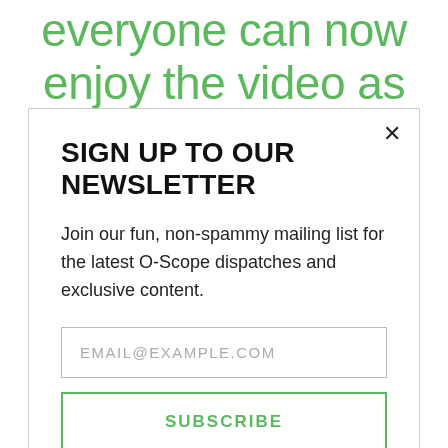everyone can now enjoy the video as was
SIGN UP TO OUR NEWSLETTER
Join our fun, non-spammy mailing list for the latest O-Scope dispatches and exclusive content.
EMAIL@EXAMPLE.COM
SUBSCRIBE